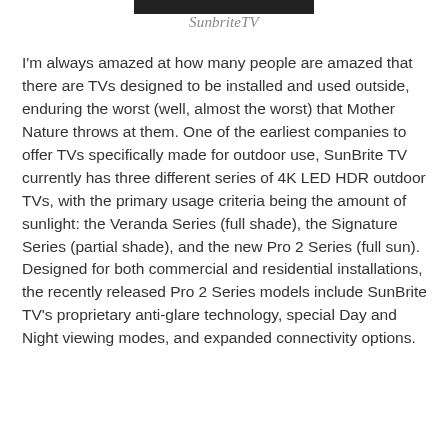[Figure (photo): Black banner image at top, likely SunbriteTV product image]
SunbriteTV
I'm always amazed at how many people are amazed that there are TVs designed to be installed and used outside, enduring the worst (well, almost the worst) that Mother Nature throws at them. One of the earliest companies to offer TVs specifically made for outdoor use, SunBrite TV currently has three different series of 4K LED HDR outdoor TVs, with the primary usage criteria being the amount of sunlight: the Veranda Series (full shade), the Signature Series (partial shade), and the new Pro 2 Series (full sun). Designed for both commercial and residential installations, the recently released Pro 2 Series models include SunBrite TV's proprietary anti-glare technology, special Day and Night viewing modes, and expanded connectivity options.